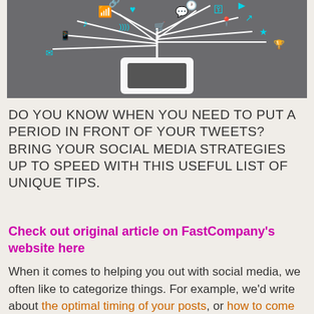[Figure (illustration): Dark gray background illustration showing a white tablet/computer device with cyan social media icons and symbols forming a tree-like network above it, including Wi-Fi, heart, chat bubble, key, share, music note, location pin, and other social media icons.]
DO YOU KNOW WHEN YOU NEED TO PUT A PERIOD IN FRONT OF YOUR TWEETS? BRING YOUR SOCIAL MEDIA STRATEGIES UP TO SPEED WITH THIS USEFUL LIST OF UNIQUE TIPS.
Check out original article on FastCompany's website here
When it comes to helping you out with social media, we often like to categorize things. For example, we'd write about the optimal timing of your posts, or how to come up with the best